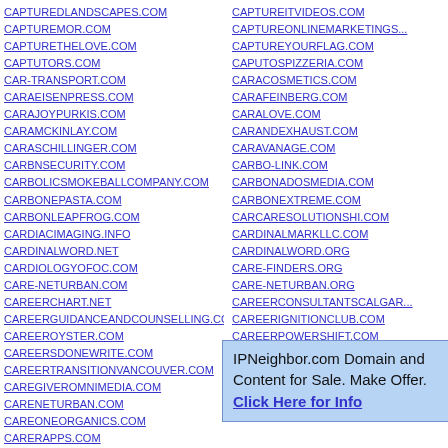CAPTUREDLANDSCAPES.COM
CAPTUREMOR.COM
CAPTURETHELOVE.COM
CAPTUTORS.COM
CAR-TRANSPORT.COM
CARAEISENPRESS.COM
CARAJOYPURKIS.COM
CARAMCKINLAY.COM
CARASCHILLINGER.COM
CARBNSECURITY.COM
CARBOLICSMOKEBALLCOMPANY.COM
CARBONEPASTA.COM
CARBONLEAPFROG.COM
CARDIACIMAGING.INFO
CARDINALWORD.NET
CARDIOLOGYOFOC.COM
CARE-NETURBAN.COM
CAREERCHART.NET
CAREERGUIDANCEANDCOUNSELLING.COM
CAREEROYSTER.COM
CAREERSDONEWRITE.COM
CAREERTRANSITIONVANCOUVER.COM
CAREGIVEROMNIMEDIA.COM
CARENETURBAN.COM
CAREONEORGANICS.COM
CARERAPPS.COM
CARETENDERSINC.COM
CAREYMEYER.COM
CAPTUREITVIDEOS.COM
CAPTUREONLINEMARKETINGS...
CAPTUREYOURFLAG.COM
CAPUTOSPIZZERIA.COM
CARACOSMETICS.COM
CARAFEINBERG.COM
CARALOVE.COM
CARANDEXHAUST.COM
CARAVANAGE.COM
CARBO-LINK.COM
CARBONADOSMEDIA.COM
CARBONEXTREME.COM
CARCARESOLUTIONSHI.COM
CARDINALMARKLLC.COM
CARDINALWORD.ORG
CARE-FINDERS.ORG
CARE-NETURBAN.ORG
CAREERCONSULTANTSCALGAR...
CAREERIGNITIONCLUB.COM
CAREERPOWERSHIFT.COM
CAREERSEARCHAMERICA.COM
CAREERTRANSITIONVANCOUVE...
CAREINJURY.COM
IPNeighbor.com Domain and Content for Sale. Make Offer. Click Here for Info